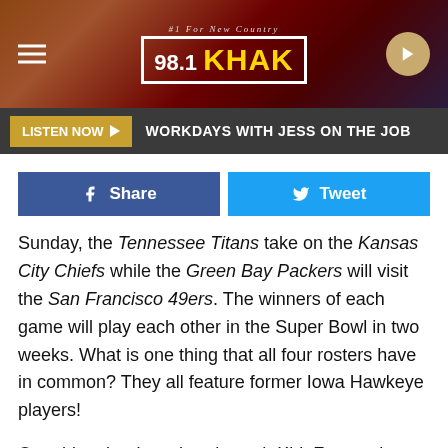[Figure (screenshot): 98.1 KHAK radio station header banner with logo, menu icon, and play button]
#1 FOR NEW COUNTRY 98.1 KHAK | LISTEN NOW | WORKDAYS WITH JESS ON THE JOB
Share | Tweet
Sunday, the Tennessee Titans take on the Kansas City Chiefs while the Green Bay Packers will visit the San Francisco 49ers. The winners of each game will play each other in the Super Bowl in two weeks. What is one thing that all four rosters have in common? They all feature former Iowa Hawkeye players!
One thing that Iowa head coach Kirk Ferentz has been consistent at is turning Iowa players into NFL players. Several more including A.J. Epenesa and Tristan Wirfs will hear their names called this spring at the NFL Draft.